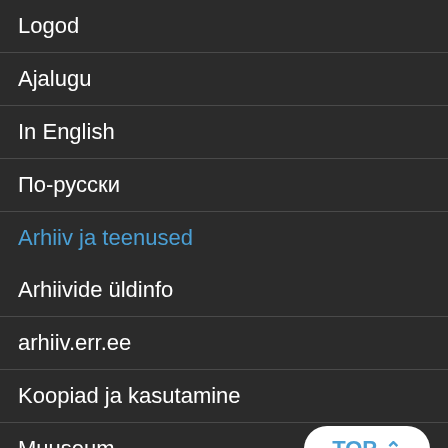Logod
Ajalugu
In English
По-русски
Arhiiv ja teenused
Arhiivide üldinfo
arhiiv.err.ee
Koopiad ja kasutamine
Muuseum
Kostüümilaenutus
Tehnilised teenused